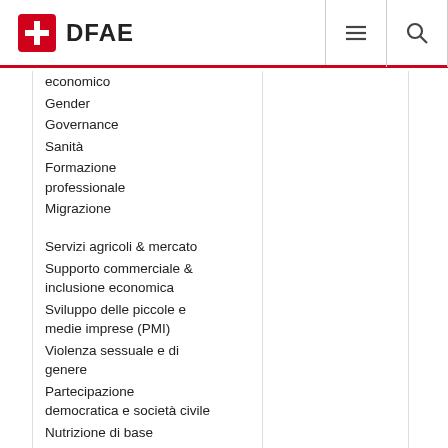DFAE
economico
Gender
Governance
Sanità
Formazione professionale
Migrazione
Servizi agricoli & mercato
Supporto commerciale & inclusione economica
Sviluppo delle piccole e medie imprese (PMI)
Violenza sessuale e di genere
Partecipazione democratica e società civile
Nutrizione di base
Formazione professionale
Sicurezza alimentare domestica
Sviluppe rurale
Migrazione della manodopera
Creazione di occupazione
Informal banking &